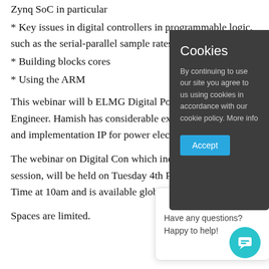Zynq SoC in particular
* Key issues in digital controllers in programmable logic, such as the serial-parallel sample rates and
* Building blocks cores
* Using the ARM
This webinar will b ELMG Digital Pow Electronics Engineer. Hamish has considerable experience the design and implementation IP for power electronics on
The webinar on Digital Con which includes a short Q&A session, will be held on Tuesday 4th Pacific Standard Time at 10am and is available globally.
Spaces are limited.
[Figure (screenshot): Cookie consent modal dialog with dark background (#3a3a3a), title 'Cookies', text 'By continuing to use our site you agree to us using cookies in accordance with our cookie policy. More info', and a blue 'Accept' button.]
[Figure (screenshot): Chat widget with avatar photo, X close button, and text 'Have any questions? Happy to help!']
[Figure (screenshot): Teal chat bubble button in bottom right corner]